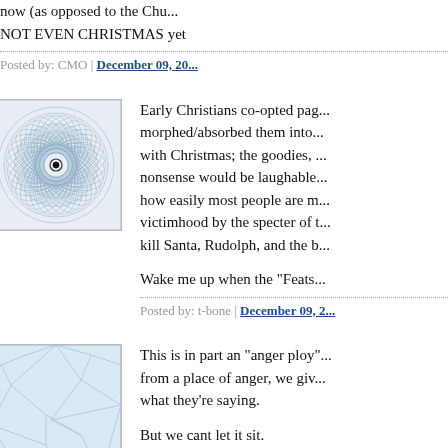now (as opposed to the Chu... NOT EVEN CHRISTMAS yet
Posted by: CMO | December 09, 20...
[Figure (illustration): Square avatar image showing a spirograph-like circular geometric pattern with concentric rings forming a mandala/flower design, blue-gray on white background]
Early Christians co-opted pag... morphed/absorbed them into... with Christmas; the goodies,... nonsense would be laughable... how easily most people are m... victimhood by the specter of t... kill Santa, Rudolph, and the b...
Wake me up when the "Feats...
Posted by: t-bone | December 09, 2...
[Figure (illustration): Square avatar image showing an abstract blue and white pattern resembling cracked ice or a web-like fractal texture]
This is in part an "anger ploy"... from a place of anger, we giv... what they're saying.
But we cant let it sit.
So the best thing is to ridicule...